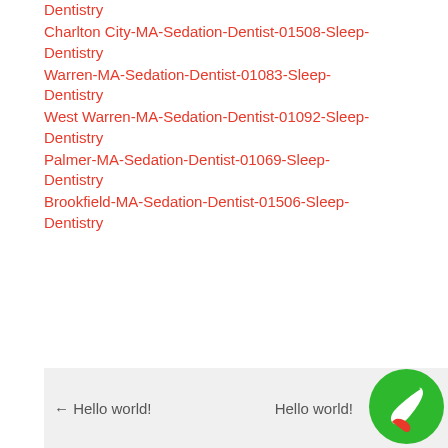Dentistry
Charlton City-MA-Sedation-Dentist-01508-Sleep-Dentistry
Warren-MA-Sedation-Dentist-01083-Sleep-Dentistry
West Warren-MA-Sedation-Dentist-01092-Sleep-Dentistry
Palmer-MA-Sedation-Dentist-01069-Sleep-Dentistry
Brookfield-MA-Sedation-Dentist-01506-Sleep-Dentistry
← Hello world!   Hello world!